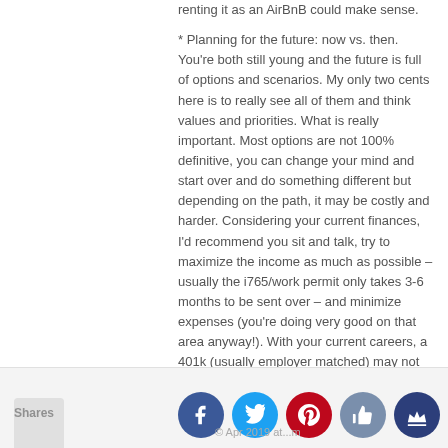renting it as an AirBnB could make sense.
* Planning for the future: now vs. then. You're both still young and the future is full of options and scenarios. My only two cents here is to really see all of them and think values and priorities. What is really important. Most options are not 100% definitive, you can change your mind and start over and do something different but depending on the path, it may be costly and harder. Considering your current finances, I'd recommend you sit and talk, try to maximize the income as much as possible – usually the i765/work permit only takes 3-6 months to be sent over – and minimize expenses (you're doing very good on that area anyway!). With your current careers, a 401k (usually employer matched) may not be the most obvious, but an IRA or just some plain investing in index funds could be your easier path.
Anyway, good luck! Reach out if you have any questions or if there's anything I can do to help.
Shares   © Apr 2019 at...m